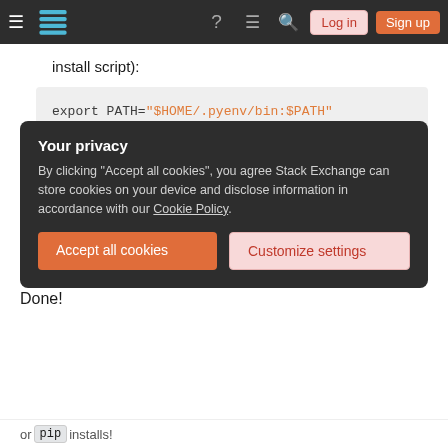Stack Exchange navigation bar with Log in and Sign up buttons
install script):
export PATH="$HOME/.pyenv/bin:$PATH"
eval "$(pyenv init -)"
eval "$(pyenv virtualenv-init -)"
4. Restart your shell (close & open or exec $SHELL ) or reload the profile script. (with e.g. source ~/.bashrc )
Done!
Your privacy
By clicking "Accept all cookies", you agree Stack Exchange can store cookies on your device and disclose information in accordance with our Cookie Policy.
Accept all cookies | Customize settings
or pip installs!